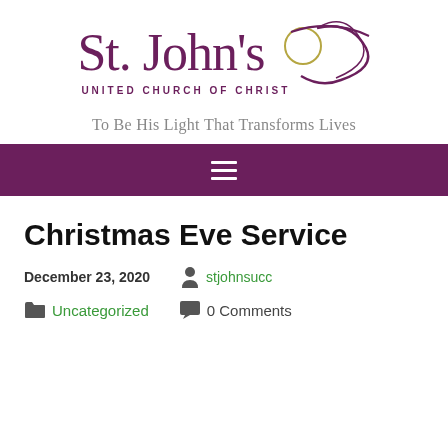[Figure (logo): St. John's United Church of Christ logo with purple serif text and decorative swirl]
To Be His Light That Transforms Lives
[Figure (infographic): Purple navigation bar with white hamburger menu icon]
Christmas Eve Service
December 23, 2020  stjohnsucc
Uncategorized  0 Comments